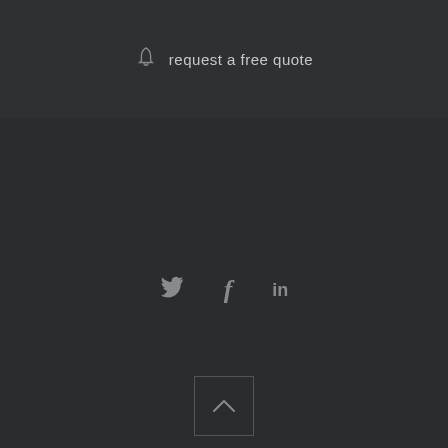request a free quote
[Figure (infographic): Three social media icons: Twitter bird, Facebook f, LinkedIn in]
[Figure (other): Scroll-to-top button with upward caret chevron inside a square border]
©2022 Kobelt Development Inc.